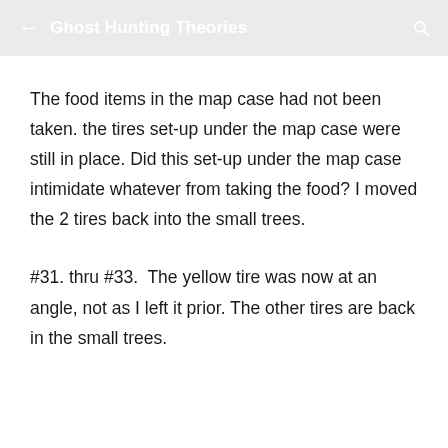Ghost Hunting Theories
The food items in the map case had not been taken. the tires set-up under the map case were still in place. Did this set-up under the map case intimidate whatever from taking the food? I moved the 2 tires back into the small trees.
#31. thru #33.  The yellow tire was now at an angle, not as I left it prior. The other tires are back in the small trees.